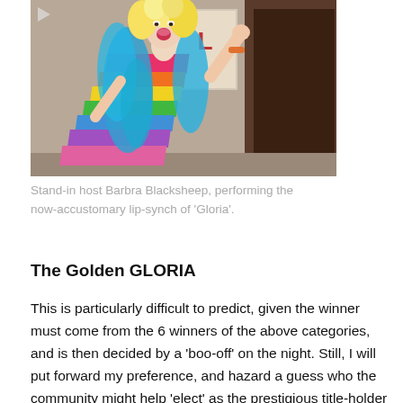[Figure (photo): A performer in a rainbow fringed dress and blue feather boa, with curly blonde hair, mouth open as if singing, one hand raised, standing in front of a doorway and a poster on the wall.]
Stand-in host Barbra Blacksheep, performing the now-accustomary lip-synch of 'Gloria'.
The Golden GLORIA
This is particularly difficult to predict, given the winner must come from the 6 winners of the above categories, and is then decided by a 'boo-off' on the night. Still, I will put forward my preference, and hazard a guess who the community might help 'elect' as the prestigious title-holder